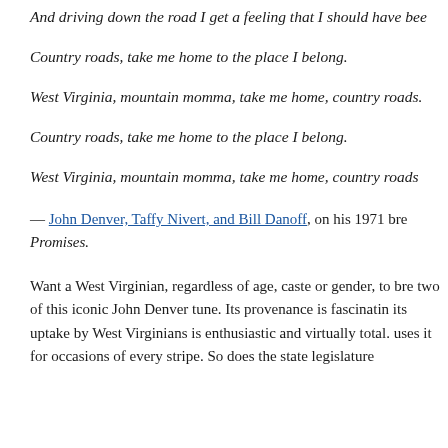And driving down the road I get a feeling that I should have bee
Country roads, take me home to the place I belong.
West Virginia, mountain momma, take me home, country roads.
Country roads, take me home to the place I belong.
West Virginia, mountain momma, take me home, country roads
— John Denver, Taffy Nivert, and Bill Danoff, on his 1971 bre Promises.
Want a West Virginian, regardless of age, caste or gender, to bre two of this iconic John Denver tune. Its provenance is fascinatin its uptake by West Virginians is enthusiastic and virtually total. uses it for occasions of every stripe. So does the state legislature